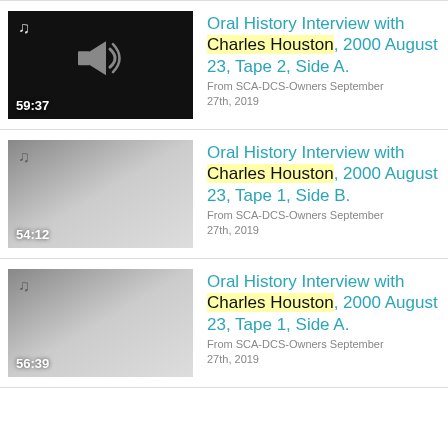Oral History Interview with Charles Houston, 2000 August 23, Tape 2, Side A. From SCA-DCS-Owners September 27th, 2019. Duration: 59:37
Oral History Interview with Charles Houston, 2000 August 23, Tape 1, Side B. From SCA-DCS-Owners September 27th, 2019. Duration: 54:12
Oral History Interview with Charles Houston, 2000 August 23, Tape 1, Side A. From SCA-DCS-Owners September 27th, 2019. Duration: 56:39